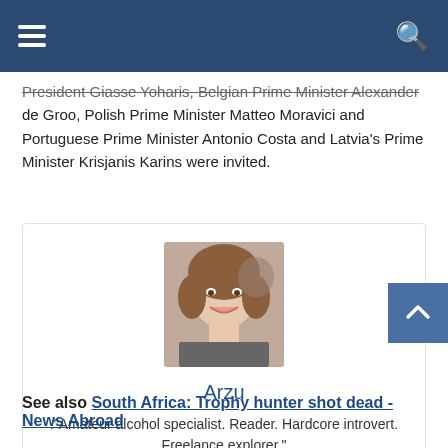Navigation bar with hamburger menu and search icon
President Giasse Yoharis, Belgian Prime Minister Alexander de Groo, Polish Prime Minister Matteo Moravici and Portuguese Prime Minister Antonio Costa and Latvia's Prime Minister Krisjanis Karins were invited.
[Figure (photo): Author photo of Arzu - young woman with curly hair smiling]
Arzu
"Amateur alcohol specialist. Reader. Hardcore introvert. Freelance explorer."
See also  South Africa: Trophy hunter shot dead - News Abroad